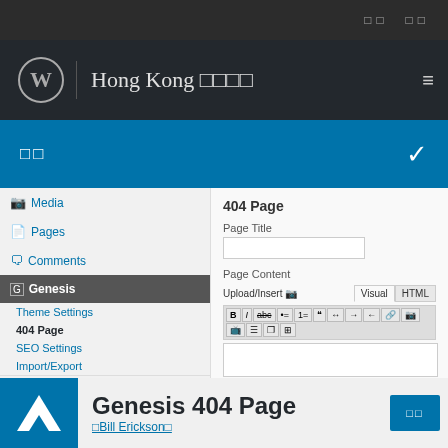Hong Kong □□□□
□□
[Figure (screenshot): WordPress admin sidebar showing Media, Pages, Comments, Genesis (active), with sub-items: Theme Settings, 404 Page (active/bold), SEO Settings, Import/Export, and Appearance]
[Figure (screenshot): WordPress admin 404 Page editor panel showing Page Title text input field and Page Content editor with Upload/Insert, Visual/HTML tabs, and toolbar buttons]
□□□□   3   WordPress □□□□□□□□
WordPress □□□□□□□□□□□□
Genesis 404 Page
□Bill Erickson□